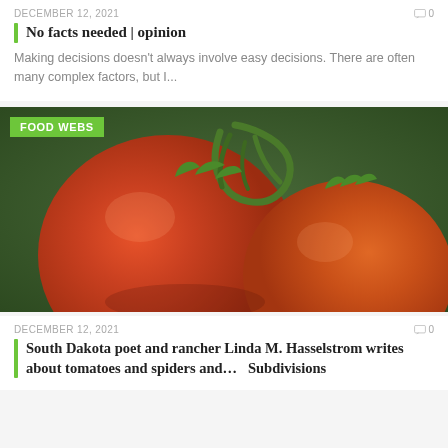DECEMBER 12, 2021
No facts needed | opinion
Making decisions doesn't always involve easy decisions. There are often many complex factors, but I...
[Figure (photo): Two ripe red tomatoes on the vine against a dark green background, with a green FOOD WEBS badge overlay in the top-left corner.]
DECEMBER 12, 2021
South Dakota poet and rancher Linda M. Hasselstrom writes about tomatoes and spiders and… Subdivisions